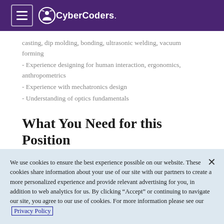CyberCoders
casting, dip molding, bonding, ultrasonic welding, vacuum forming
- Experience designing for human interaction, ergonomics, anthropometrics
- Experience with mechatronics design
- Understanding of optics fundamentals
What You Need for this Position
We use cookies to ensure the best experience possible on our website. These cookies share information about your use of our site with our partners to create a more personalized experience and provide relevant advertising for you, in addition to web analytics for us. By clicking “Accept” or continuing to navigate our site, you agree to our use of cookies. For more information please see our Privacy Policy